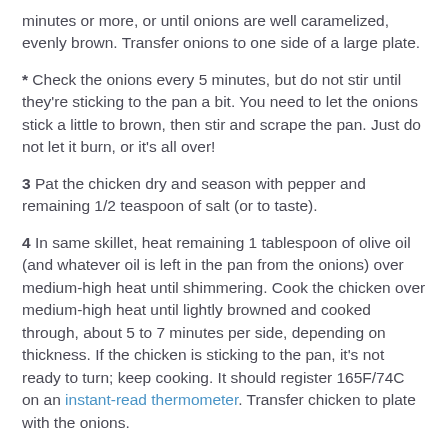minutes or more, or until onions are well caramelized, evenly brown. Transfer onions to one side of a large plate.
* Check the onions every 5 minutes, but do not stir until they're sticking to the pan a bit. You need to let the onions stick a little to brown, then stir and scrape the pan. Just do not let it burn, or it's all over!
3 Pat the chicken dry and season with pepper and remaining 1/2 teaspoon of salt (or to taste).
4 In same skillet, heat remaining 1 tablespoon of olive oil (and whatever oil is left in the pan from the onions) over medium-high heat until shimmering. Cook the chicken over medium-high heat until lightly browned and cooked through, about 5 to 7 minutes per side, depending on thickness. If the chicken is sticking to the pan, it's not ready to turn; keep cooking. It should register 165F/74C on an instant-read thermometer. Transfer chicken to plate with the onions.
5 Place an oven rack about 6 inches from the broiler and turn oven to Broil. Add sherry or brandy to skillet to deglaze